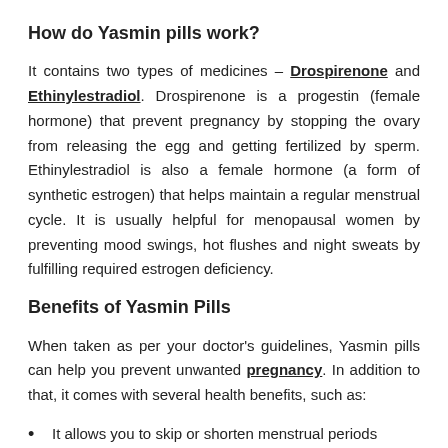How do Yasmin pills work?
It contains two types of medicines – Drospirenone and Ethinylestradiol. Drospirenone is a progestin (female hormone) that prevent pregnancy by stopping the ovary from releasing the egg and getting fertilized by sperm. Ethinylestradiol is also a female hormone (a form of synthetic estrogen) that helps maintain a regular menstrual cycle. It is usually helpful for menopausal women by preventing mood swings, hot flushes and night sweats by fulfilling required estrogen deficiency.
Benefits of Yasmin Pills
When taken as per your doctor's guidelines, Yasmin pills can help you prevent unwanted pregnancy. In addition to that, it comes with several health benefits, such as:
It allows you to skip or shorten menstrual periods